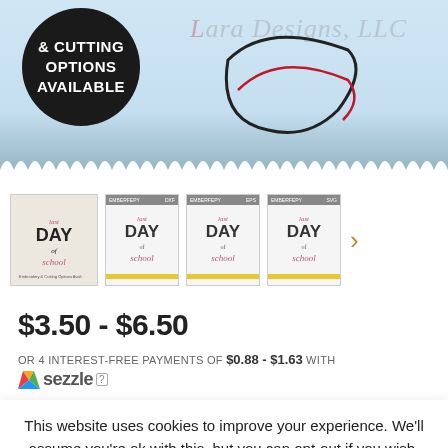[Figure (photo): Main product image showing 'Last Day of School' SVG design on a white item, with a black circle overlay reading '& Cutting Options Available' and a watermark 'Lara Designs, LLC'. Bottom has a decorative saw/scallop edge.]
[Figure (photo): Row of product thumbnail images showing 'Last Day of School' SVG design previews in different color formats (DXF, EPS, SVG), with a navigation arrow on the right.]
$3.50 - $6.50
OR 4 INTEREST-FREE PAYMENTS OF $0.88 - $1.63 WITH sezzle ?
This website uses cookies to improve your experience. We'll assume you're ok with this, but you can opt-out if you wish.
Accept
Read More